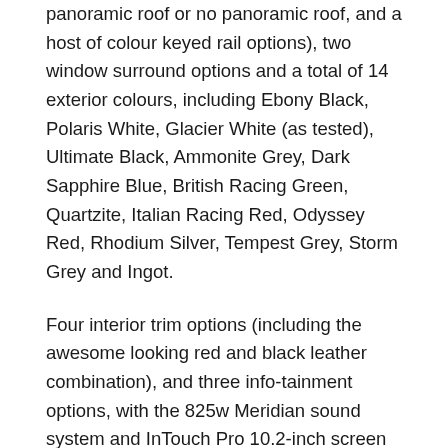panoramic roof or no panoramic roof, and a host of colour keyed rail options), two window surround options and a total of 14 exterior colours, including Ebony Black, Polaris White, Glacier White (as tested), Ultimate Black, Ammonite Grey, Dark Sapphire Blue, British Racing Green, Quartzite, Italian Racing Red, Odyssey Red, Rhodium Silver, Tempest Grey, Storm Grey and Ingot.
Four interior trim options (including the awesome looking red and black leather combination), and three info-tainment options, with the 825w Meridian sound system and InTouch Pro 10.2-inch screen the stand out amongst the three. There's also a bunch of other interior choices – it's nearly enough to make your head spin, but again, it's about making your F PACE uniquely yours.
The F PACE is also available with two other engine configurations, and four other model options (including the